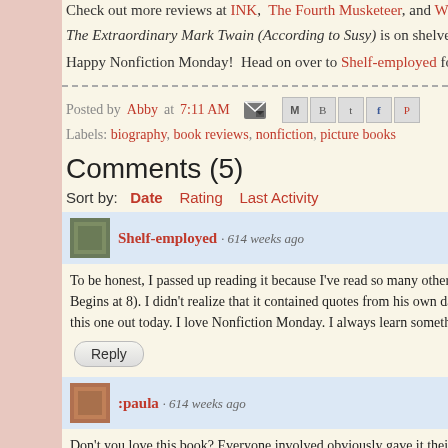Check out more reviews at INK, The Fourth Musketeer, and Writing...
The Extraordinary Mark Twain (According to Susy) is on shelves now
Happy Nonfiction Monday! Head on over to Shelf-employed for the
Posted by Abby at 7:11 AM
Labels: biography, book reviews, nonfiction, picture books
Comments (5)
Sort by: Date  Rating  Last Activity
Shelf-employed · 614 weeks ago
To be honest, I passed up reading it because I've read so many other Mark T... Begins at 8). I didn't realize that it contained quotes from his own daughter. this one out today. I love Nonfiction Monday. I always learn something new
:paula · 614 weeks ago
Don't you love this book? Everyone involved obviously gave it their very b...